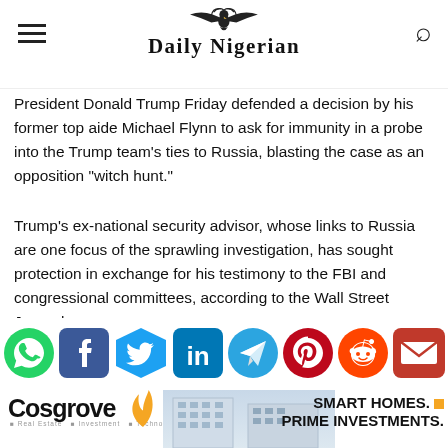Daily Nigerian
President Donald Trump Friday defended a decision by his former top aide Michael Flynn to ask for immunity in a probe into the Trump team’s ties to Russia, blasting the case as an opposition “witch hunt.”
Trump’s ex-national security advisor, whose links to Russia are one focus of the sprawling investigation, has sought protection in exchange for his testimony to the FBI and congressional committees, according to the Wall Street Journal.
[Figure (infographic): Social media sharing icons: WhatsApp, Facebook, Twitter, LinkedIn, Telegram, Pinterest, Reddit, Email]
[Figure (infographic): Cosgrove Real Estate advertisement banner with logo, building photo, and text 'SMART HOMES. PRIME INVESTMENTS.']